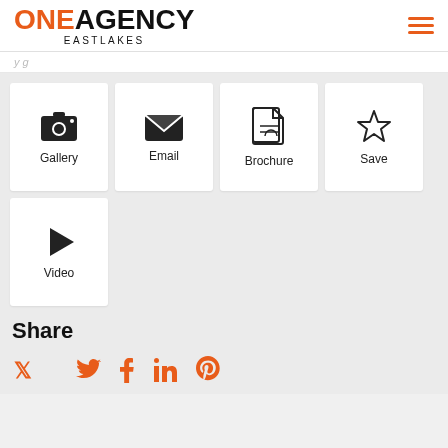ONE AGENCY EASTLAKES
[Figure (screenshot): Navigation menu icons: Gallery (camera), Email (envelope), Brochure (document), Save (star), Video (play button)]
Share
[Figure (infographic): Social media icons: Twitter, Facebook, LinkedIn, Pinterest — all in orange]